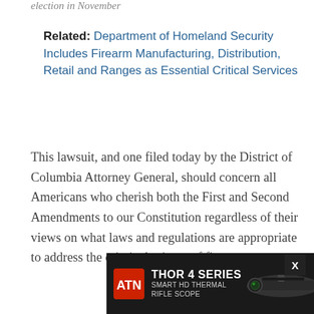election in November
Related: Department of Homeland Security Includes Firearm Manufacturing, Distribution, Retail and Ranges as Essential Critical Services
This lawsuit, and one filed today by the District of Columbia Attorney General, should concern all Americans who cherish both the First and Second Amendments to our Constitution regardless of their views on what laws and regulations are appropriate to address the criminal misuse of firearms.
[Figure (other): ATN advertisement banner for THOR 4 SERIES SMART HD THERMAL RIFLE SCOPE with ATN logo, product image of rifle scope, and a circular badge.]